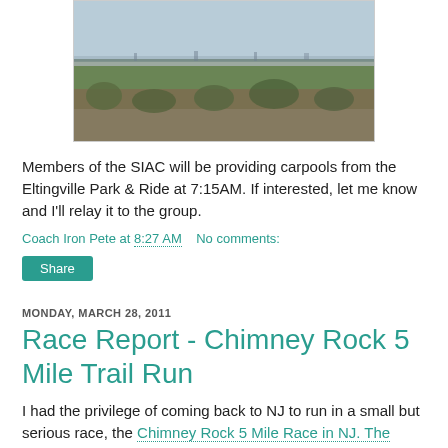[Figure (photo): Landscape photo showing a panoramic view of trees and distant skyline under a hazy sky]
Members of the SIAC will be providing carpools from the Eltingville Park & Ride at 7:15AM. If interested, let me know and I'll relay it to the group.
Coach Iron Pete at 8:27 AM   No comments:
Share
MONDAY, MARCH 28, 2011
Race Report - Chimney Rock 5 Mile Trail Run
I had the privilege of coming back to NJ to run in a small but serious race, the Chimney Rock 5 Mile Race in NJ. The